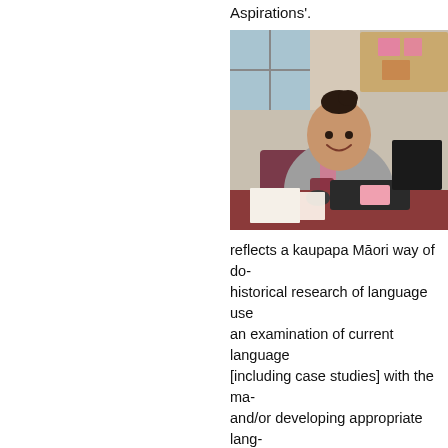Aspirations'.
[Figure (photo): A young woman smiling, sitting at a desk with a computer keyboard and mouse, wearing a grey and pink hoodie, in an office environment with a bulletin board in the background.]
reflects a kaupapa Māori way of do- historical research of language use an examination of current language [including case studies] with the ma- and/or developing appropriate lang- activity.
“This research will allow for kauapa Māori businesses using vocabulary just transliterations, and that encom- trading in a Māori way. In order to t